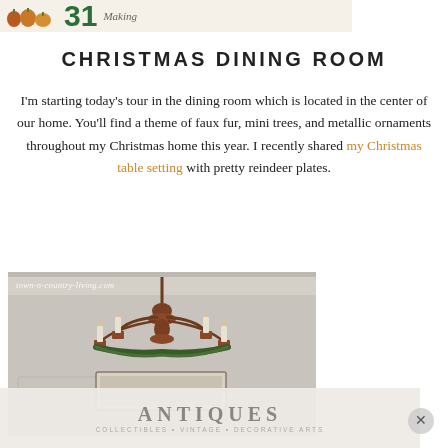[Figure (illustration): Top banner strip showing pumpkin icons, a large green number '31', and handwritten-style script text 'Making']
CHRISTMAS DINING ROOM
I'm starting today's tour in the dining room which is located in the center of our home. You'll find a theme of faux fur, mini trees, and metallic ornaments throughout my Christmas home this year. I recently shared my Christmas table setting with pretty reindeer plates.
[Figure (photo): Photo of a rustic chandelier with candle-style lights, decorated with greenery, hanging in a dining room. Watermark reads 'town-n-country-living.com']
[Figure (other): Advertisement overlay at bottom reading 'ANTIQUES' with subtitle text, semi-transparent background]